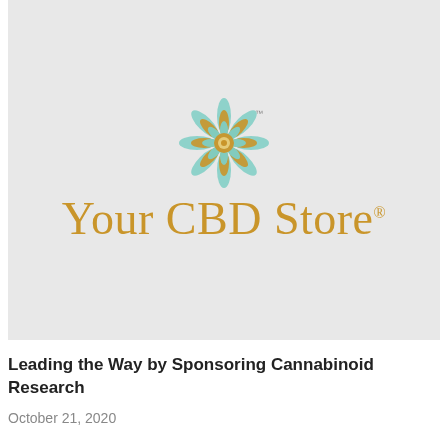[Figure (logo): Your CBD Store logo on a light gray background. A decorative mandala flower emblem in teal/gold above the text 'Your CBD Store' in gold serif letters with a registered trademark symbol.]
Leading the Way by Sponsoring Cannabinoid Research
October 21, 2020